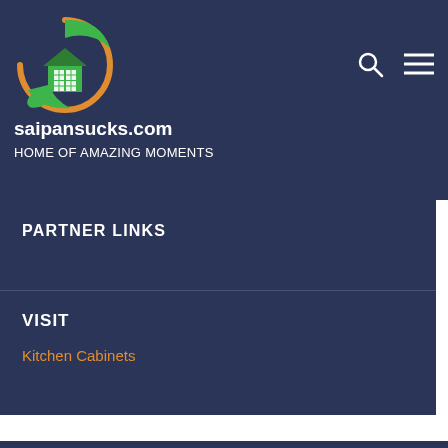[Figure (logo): House with leaf logo in a circular orange and green swoosh design]
saipansucks.com
HOME OF AMAZING MOMENTS
PARTNER LINKS
VISIT
Kitchen Cabinets
Powered by WordPress > Theme: Azuma